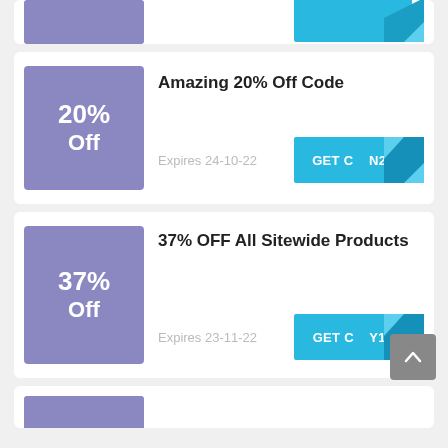[Figure (infographic): Partial coupon card at top showing purple discount box and blue GET CODE button with fold corner, partially cropped]
Amazing 20% Off Code
Expires 24-10-22
GET CODE (partially visible as GET C...N20)
37% OFF All Sitewide Products
Expires 23-11-22
GET CODE (partially visible as GET C...Y14)
[Figure (infographic): Partial coupon card at bottom, purple discount box visible, cropped]